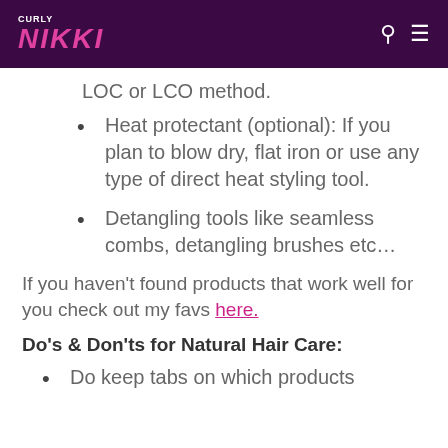CURLY NIKKI
LOC or LCO method.
Heat protectant (optional): If you plan to blow dry, flat iron or use any type of direct heat styling tool.
Detangling tools like seamless combs, detangling brushes etc…
If you haven't found products that work well for you check out my favs here.
Do's & Don'ts for Natural Hair Care:
Do keep tabs on which products